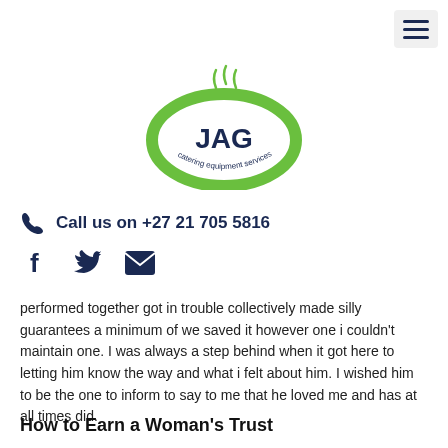[Figure (logo): JAG Catering Equipment Services logo — circular green oval with steam rising, bold blue text 'JAG' in center, text 'catering equipment services' around bottom arc]
📞 Call us on +27 21 705 5816
[Figure (infographic): Social media icons: Facebook (f), Twitter (bird), Email (envelope)]
performed together got in trouble collectively made silly guarantees a minimum of we saved it however one i couldn't maintain one. I was always a step behind when it got here to letting him know the way and what i felt about him. I wished him to be the one to inform to say to me that he loved me and has at all times did.
How to Earn a Woman's Trust